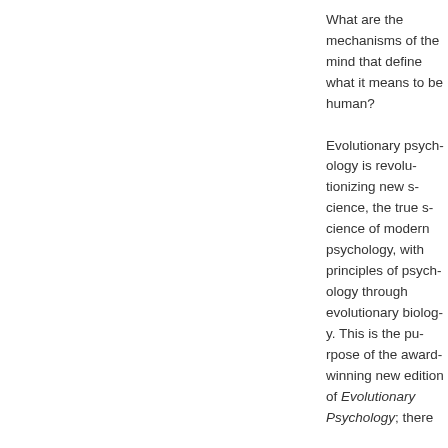What are the mechanisms of the mind that define what it means to be human? Evolutionary psychology is revolutionizing the new science of the true science of modern psychology principles of psychology through evolutionary biology. This is the purpose of the award-winning new edition of Evolutionary Psychology, there